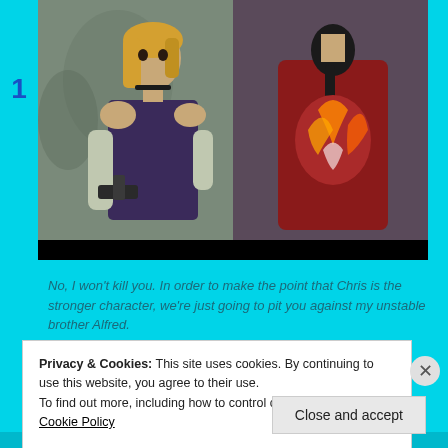[Figure (screenshot): Video game screenshot showing two characters facing each other: a blonde woman in a dark dress holding a weapon on the left, and a figure in a red jacket with a decorative back design on the right. Dark stone background.]
No, I won't kill you. In order to make the point that Chris is the stronger character, we're just going to pit you against my unstable brother Alfred.
Privacy & Cookies: This site uses cookies. By continuing to use this website, you agree to their use.
To find out more, including how to control cookies, see here: Cookie Policy
Close and accept